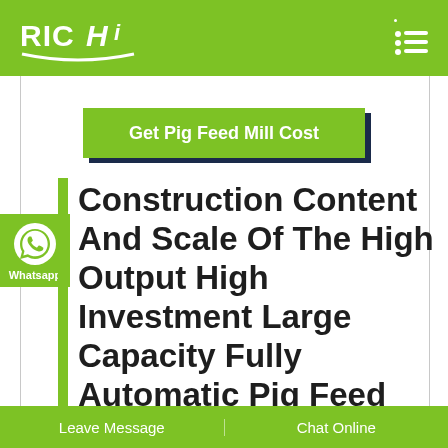RICHI
[Figure (other): Green button with shadow: Get Pig Feed Mill Cost]
Construction Content And Scale Of The High Output High Investment Large Capacity Fully Automatic Pig Feed Mill
[Figure (other): WhatsApp contact icon with label Whatsapp]
Leave Message | Chat Online